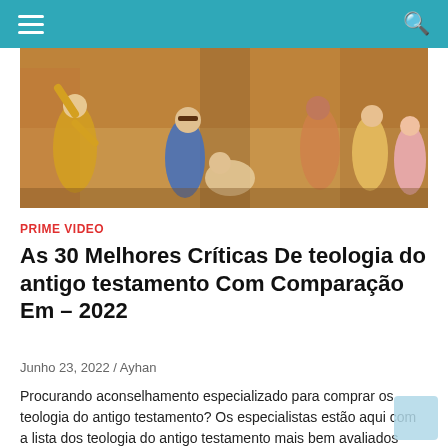≡  🔍
[Figure (illustration): Classical religious painting showing multiple figures in robes gesturing dramatically, reminiscent of a biblical or mythological scene]
PRIME VIDEO
As 30 Melhores Críticas De teologia do antigo testamento Com Comparação Em – 2022
Junho 23, 2022 / Ayhan
Procurando aconselhamento especializado para comprar os teologia do antigo testamento? Os especialistas estão aqui com a lista dos teologia do antigo testamento mais bem avaliados disponíveis nos EUA para 2022. Você vai investir seu dinheiro suado comprando estes